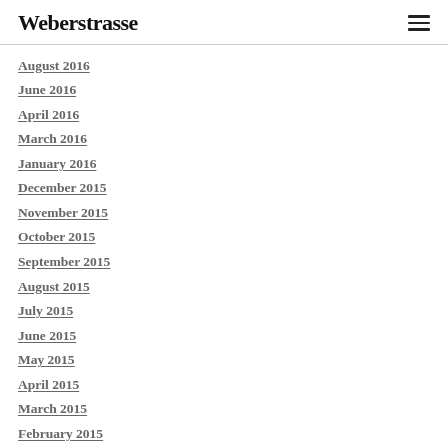Weberstrasse
August 2016
June 2016
April 2016
March 2016
January 2016
December 2015
November 2015
October 2015
September 2015
August 2015
July 2015
June 2015
May 2015
April 2015
March 2015
February 2015
January 2015